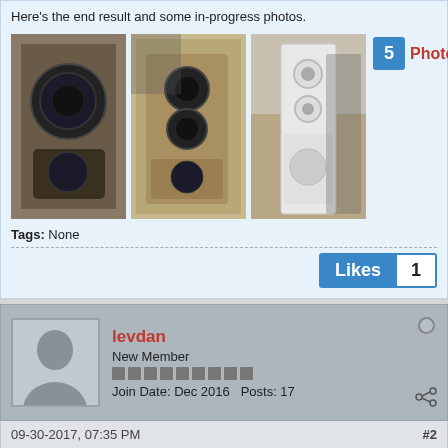Here's the end result and some in-progress photos.
[Figure (photo): Three thumbnail photos of tall floor-standing speakers in wood finish]
Tags: None
Likes  1
levdan
New Member
Join Date: Dec 2016   Posts: 17
09-30-2017, 07:35 PM   #2
[Figure (photo): Three thumbnail photos of speaker cabinet construction in progress, labeled 3 Photos]